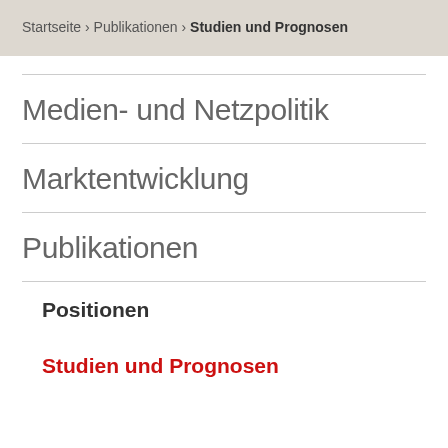Startseite › Publikationen › Studien und Prognosen
Medien- und Netzpolitik
Marktentwicklung
Publikationen
Positionen
Studien und Prognosen